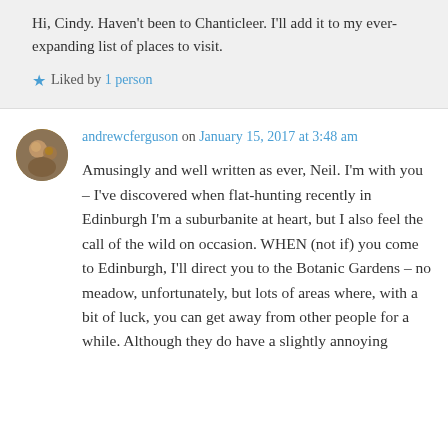Hi, Cindy. Haven't been to Chanticleer. I'll add it to my ever-expanding list of places to visit.
Liked by 1 person
andrewcferguson on January 15, 2017 at 3:48 am
Amusingly and well written as ever, Neil. I'm with you – I've discovered when flat-hunting recently in Edinburgh I'm a suburbanite at heart, but I also feel the call of the wild on occasion. WHEN (not if) you come to Edinburgh, I'll direct you to the Botanic Gardens – no meadow, unfortunately, but lots of areas where, with a bit of luck, you can get away from other people for a while. Although they do have a slightly annoying